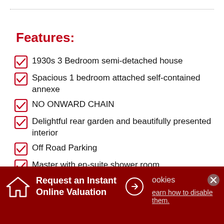Features:
1930s 3 Bedroom semi-detached house
Spacious 1 bedroom attached self-contained annexe
NO ONWARD CHAIN
Delightful rear garden and beautifully presented interior
Off Road Parking
Master with en-suite shower room
Close to amenities in the popular area of Elburton
Annexe includes double bedroom, bathroom, generous sitting room and kitchen/breakfast room.
Annexe has its own entrance and communicating door to
Request an Instant Online Valuation
ookies
earn how to disable them.